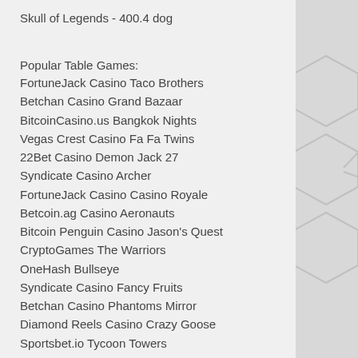Skull of Legends - 400.4 dog
Popular Table Games:
FortuneJack Casino Taco Brothers
Betchan Casino Grand Bazaar
BitcoinCasino.us Bangkok Nights
Vegas Crest Casino Fa Fa Twins
22Bet Casino Demon Jack 27
Syndicate Casino Archer
FortuneJack Casino Casino Royale
Betcoin.ag Casino Aeronauts
Bitcoin Penguin Casino Jason's Quest
CryptoGames The Warriors
OneHash Bullseye
Syndicate Casino Fancy Fruits
Betchan Casino Phantoms Mirror
Diamond Reels Casino Crazy Goose
Sportsbet.io Tycoon Towers
https://www.trattoriadimontaluce.com/profile/